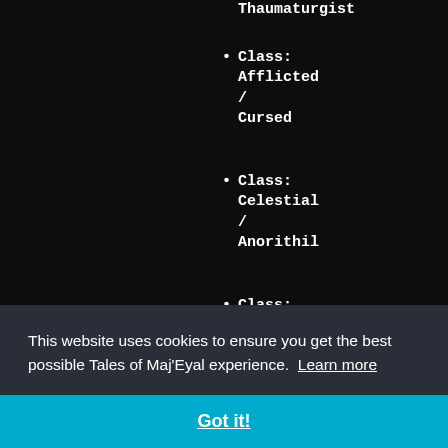Thaumaturgist
Class: Afflicted / Cursed
Class: Celestial / Anorithil
Class: Celestial / Sun
This website uses cookies to ensure you get the best possible Tales of Maj'Eyal experience.  Learn more
Got it!